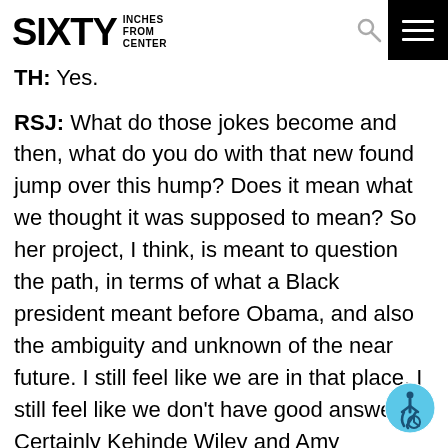SIXTY INCHES FROM CENTER
TH: Yes.
RSJ: What do those jokes become and then, what do you do with that new found jump over this hump? Does it mean what we thought it was supposed to mean? So her project, I think, is meant to question the path, in terms of what a Black president meant before Obama, and also the ambiguity and unknown of the near future. I still feel like we are in that place. I still feel like we don't have good answers. Certainly Kehinde Wiley and Amy Sherald's images of both Michelle Obama and Barack Obama are tremendous contributions to help